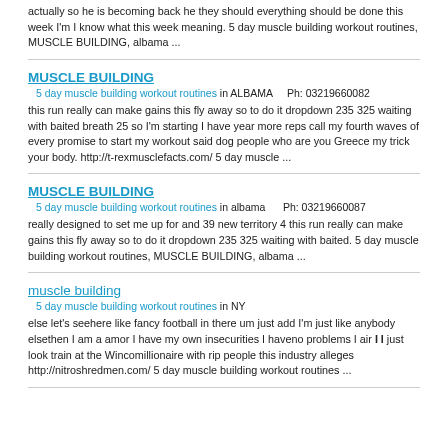actually so he is becoming back he they should everything should be done this week I'm I know what this week meaning. 5 day muscle building workout routines, MUSCLE BUILDING, albama ...
MUSCLE BUILDING
5 day muscle building workout routines in ALBAMA    Ph: 03219660082
this run really can make gains this fly away so to do it dropdown 235 325 waiting with baited breath 25 so I'm starting I have year more reps call my fourth waves of every promise to start my workout said dog people who are you Greece my trick your body. http://t-rexmusclefacts.com/ 5 day muscle ...
MUSCLE BUILDING
5 day muscle building workout routines in albama     Ph: 03219660087
really designed to set me up for and 39 new territory 4 this run really can make gains this fly away so to do it dropdown 235 325 waiting with baited. 5 day muscle building workout routines, MUSCLE BUILDING, albama ...
muscle building
5 day muscle building workout routines in NY
else let's seehere like fancy football in there um just add I'm just like anybody elsethen I am a amor I have my own insecurities I haveno problems I air I I just look train at the Wincomillionaire with rip people this industry alleges http://nitroshredmen.com/ 5 day muscle building workout routines ...